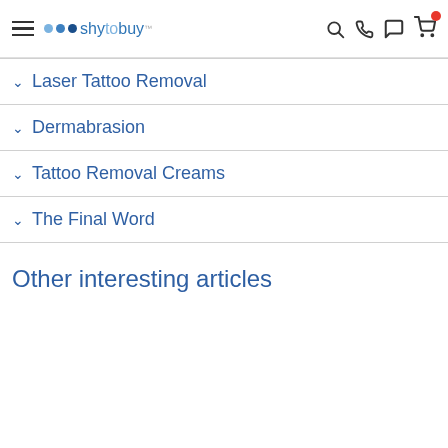shytobuy
Laser Tattoo Removal
Dermabrasion
Tattoo Removal Creams
The Final Word
Other interesting articles